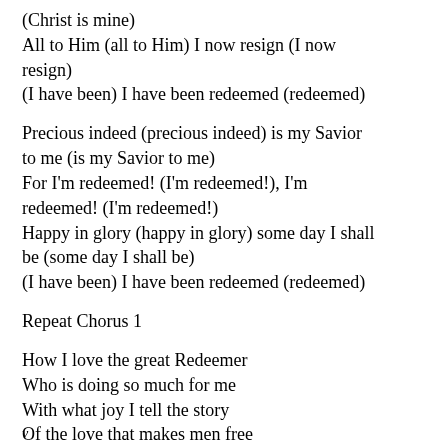(Christ is mine)
All to Him (all to Him) I now resign (I now resign)
(I have been) I have been redeemed (redeemed)
Precious indeed (precious indeed) is my Savior to me (is my Savior to me)
For I'm redeemed! (I'm redeemed!), I'm redeemed! (I'm redeemed!)
Happy in glory (happy in glory) some day I shall be (some day I shall be)
(I have been) I have been redeemed (redeemed)
Repeat Chorus 1
How I love the great Redeemer
Who is doing so much for me
With what joy I tell the story
Of the love that makes men free
'Til my earthly life is ended
I will send (I will send) songs above (songs above)
Then let it be even so
v